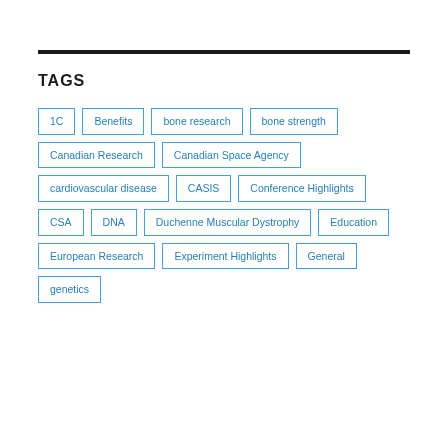TAGS
1C
Benefits
bone research
bone strength
Canadian Research
Canadian Space Agency
cardiovascular disease
CASIS
Conference Highlights
CSA
DNA
Duchenne Muscular Dystrophy
Education
European Research
Experiment Highlights
General
genetics